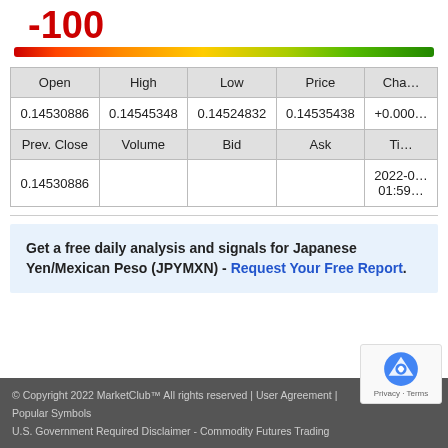-100
[Figure (infographic): Horizontal gradient gauge bar from red (left) to green (right), indicating a score of -100]
| Open | High | Low | Price | Chan... |
| --- | --- | --- | --- | --- |
| 0.14530886 | 0.14545348 | 0.14524832 | 0.14535438 | +0.000... |
| Prev. Close | Volume | Bid | Ask | Tim... |
| 0.14530886 |  |  |  | 2022-0... 01:59... |
Get a free daily analysis and signals for Japanese Yen/Mexican Peso (JPYMXN) - Request Your Free Report.
© Copyright 2022 MarketClub™ All rights reserved | User Agreement | Popular Symbols
U.S. Government Required Disclaimer - Commodity Futures Trading